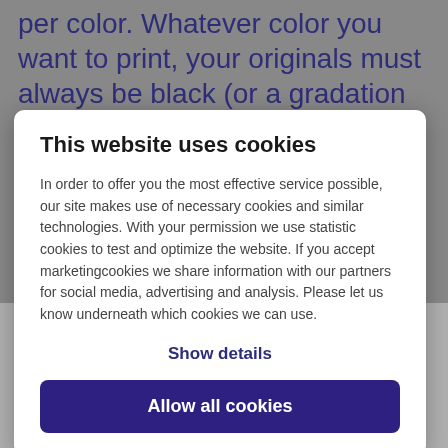per color. Whatever color you want to print, your originals must always be black (or a gradation of black). The machine can only read black, and only
This website uses cookies
In order to offer you the most effective service possible, our site makes use of necessary cookies and similar technologies. With your permission we use statistic cookies to test and optimize the website. If you accept marketingcookies we share information with our partners for social media, advertising and analysis. Please let us know underneath which cookies we can use.
Show details
Allow all cookies
[Figure (photo): Photo showing 'RISO- printing' text printed three times in overlapping layers in red and orange colors on paper, demonstrating RISO print color layering]